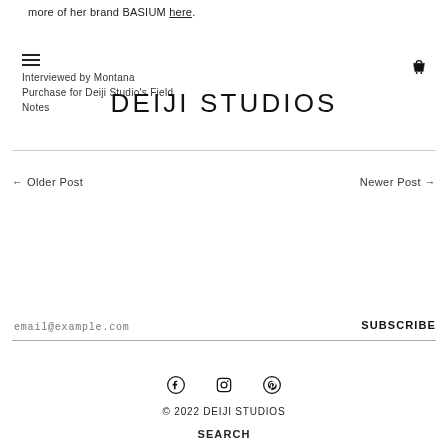more of her brand BASIUM here.
Interviewed by Montana
Purchase for Deiji Studio's Field Notes
DEIJI STUDIOS
← Older Post
Newer Post →
email@example.com
SUBSCRIBE
[Figure (other): Social media icons: Facebook, Instagram, Pinterest]
© 2022 DEIJI STUDIOS
SEARCH